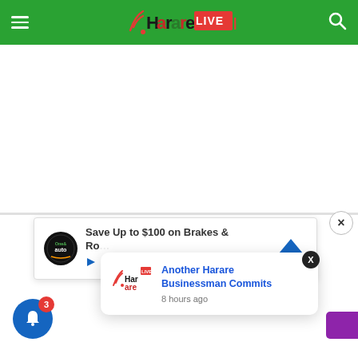Harare Live - navigation header with hamburger menu and search icon
[Figure (screenshot): White empty content area below header - advertisement space]
[Figure (screenshot): Ad card: Save Up to $100 on Brakes & Rotors with One&Auto logo]
[Figure (screenshot): Notification popup: Another Harare Businessman Commits - 8 hours ago, with Harare Live logo]
[Figure (screenshot): Blue bell notification button with red badge showing 3]